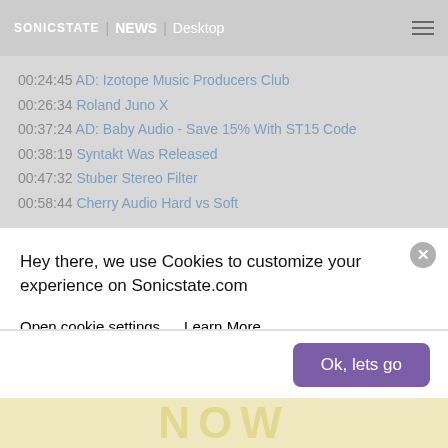SONICSTATE | NEWS | Desktop
00:24:45 AD: Izotope Music Producers Club
00:26:34 Roland Juno X
00:37:24 AD: Baby Audio - Save 15% With ST15 Code
00:38:19 Syntakt Was Released
00:47:32 Stuber Stereo Filter
00:58:44 Cherry Audio Hard vs Soft
Where to Watch/Listen - We now stream the live show to Youtube Live, Facebook Live as well as at Sonicstate.com/live every Weds at
Hey there, we use Cookies to customize your experience on Sonicstate.com
Open cookie settings   Learn More
Ok, lets go
NOW